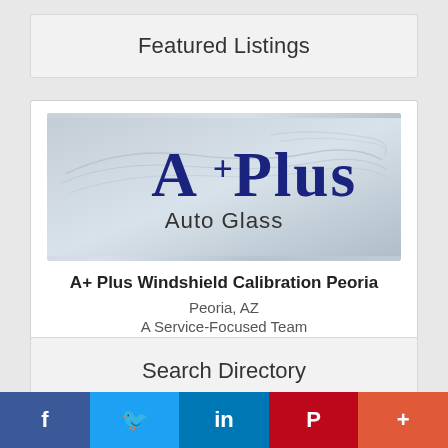Featured Listings
[Figure (logo): A+ Plus Auto Glass logo with decorative car silhouette lines and navy blue text]
A+ Plus Windshield Calibration Peoria
Peoria, AZ
A Service-Focused Team
★★★★★
Search Directory
f  🐦  in  P  +